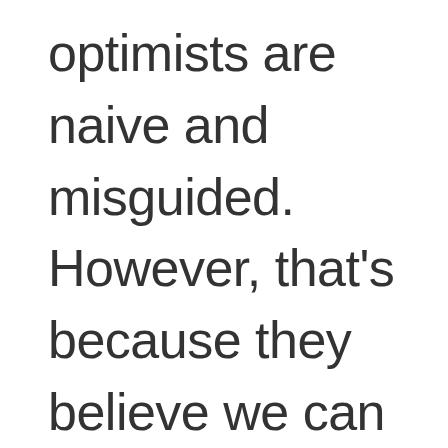optimists are naive and misguided. However, that's because they believe we can win with ideas